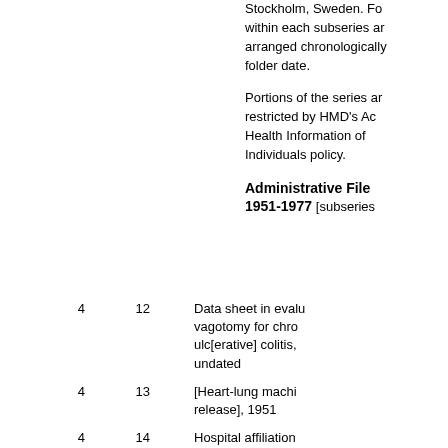Stockholm, Sweden. Fo within each subseries ar arranged chronologically folder date.
Portions of the series ar restricted by HMD's Ac Health Information of Individuals policy.
Administrative File 1951-1977 [subseries
4  12  Data sheet in evalu vagotomy for chro ulc[erative] colitis, undated
4  13  [Heart-lung machi release], 1951
4  14  Hospital affiliation 1967
4  15  Adelphi hospital, 1 1960
4  16  [Arrangements for and lectures], 196